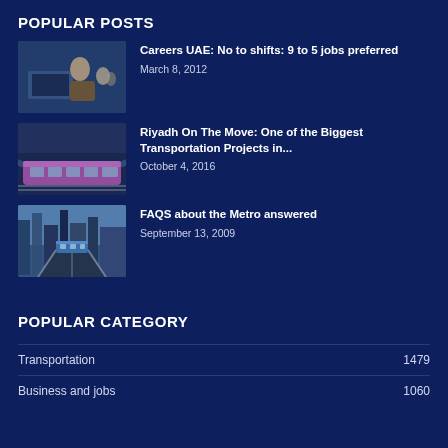POPULAR POSTS
Careers UAE: No to shifts: 9 to 5 jobs preferred
March 8, 2012
Riyadh On The Move: One of the Biggest Transportation Projects in...
October 4, 2016
FAQS about the Metro answered
September 13, 2009
POPULAR CATEGORY
Transportation 1479
Business and jobs 1060